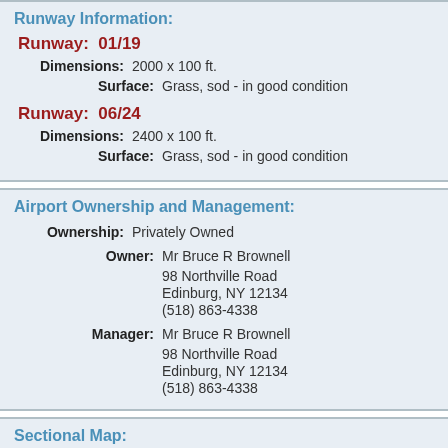Runway Information:
Runway: 01/19
Dimensions: 2000 x 100 ft.
Surface: Grass, sod - in good condition
Runway: 06/24
Dimensions: 2400 x 100 ft.
Surface: Grass, sod - in good condition
Airport Ownership and Management:
Ownership: Privately Owned
Owner: Mr Bruce R Brownell
98 Northville Road
Edinburg, NY 12134
(518) 863-4338
Manager: Mr Bruce R Brownell
98 Northville Road
Edinburg, NY 12134
(518) 863-4338
Sectional Map: